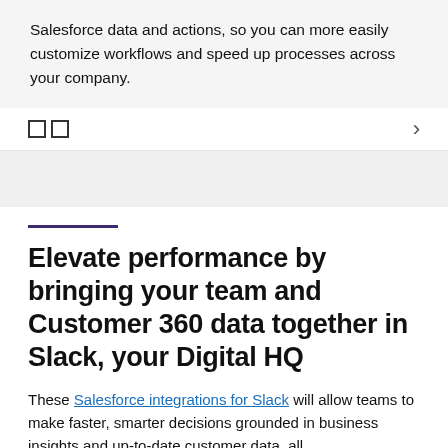Salesforce data and actions, so you can more easily customize workflows and speed up processes across your company.
[Figure (other): Navigation bar with two small square icons on the left and a right-pointing chevron arrow on the right]
Elevate performance by bringing your team and Customer 360 data together in Slack, your Digital HQ
These Salesforce integrations for Slack will allow teams to make faster, smarter decisions grounded in business insights and up-to-date customer data, all